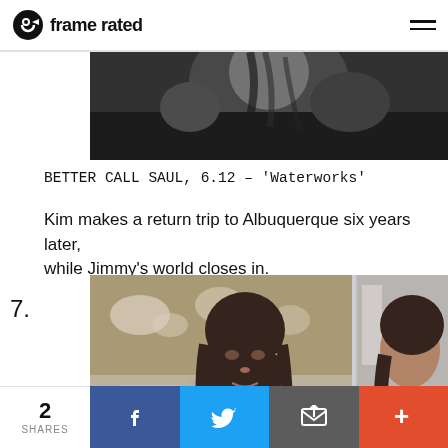frame rated
[Figure (photo): Black and white film still from Better Call Saul showing a person from behind]
BETTER CALL SAUL, 6.12 – 'Waterworks'
Kim makes a return trip to Albuquerque six years later, while Jimmy's world closes in.
7.
[Figure (photo): Color film still from Better Call Saul showing a woman with dark hair looking serious in an office setting, with a mirror reflection]
2 SHARES
Share buttons: Facebook, Twitter, Email, More